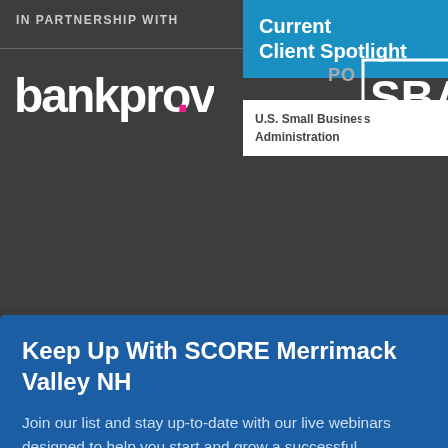IN PARTNERSHIP WITH
[Figure (logo): bankprov. logo in white text with pink dot]
[Figure (logo): SBA U.S. Small Business Administration logo with Current Client Spotlight label in blue]
Keep Up With SCORE Merrimack Valley NH
Join our list and stay up-to-date with our live webinars designed to help you start and grow a successful business.
email address
SUBMIT
Thank you for visiting SCORE Merrimack Valley NH
We value your feedback